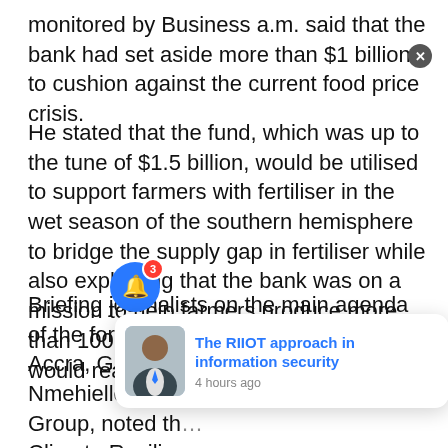monitored by Business a.m. said that the bank had set aside more than $1 billion to cushion against the current food price crisis.
He stated that the fund, which was up to the tune of $1.5 billion, would be utilised to support farmers with fertiliser in the wet season of the southern hemisphere to bridge the supply gap in fertiliser while also explaining that the bank was on a mission to help farmers produce more than 100 million tonnes of food that would reach 200 million people.
Briefing journalists on the main agenda of the forthcoming summit of the bank in Accra, Ghana come May, Vincent Nmehielle, secretary-general of the AfDB Group, noted th… Climate Resilien… was high… any country's development and it will avail stakeholders
[Figure (other): Notification popup card showing a person avatar and text 'The RIIOT approach in information security' with timestamp '4 hours ago'. Blue notification bell icon with badge showing 3. Close X button.]